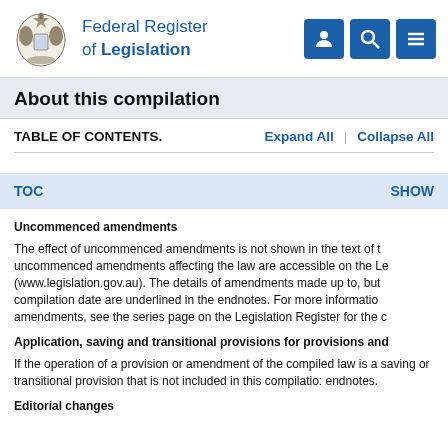Federal Register of Legislation
About this compilation
TABLE OF CONTENTS.    Expand All  |  Collapse All
TOC    SHOW
Uncommenced amendments
The effect of uncommenced amendments is not shown in the text of t uncommenced amendments affecting the law are accessible on the Le (www.legislation.gov.au). The details of amendments made up to, but compilation date are underlined in the endnotes. For more informatio amendments, see the series page on the Legislation Register for the c
Application, saving and transitional provisions for provisions and
If the operation of a provision or amendment of the compiled law is a saving or transitional provision that is not included in this compilatio: endnotes.
Editorial changes